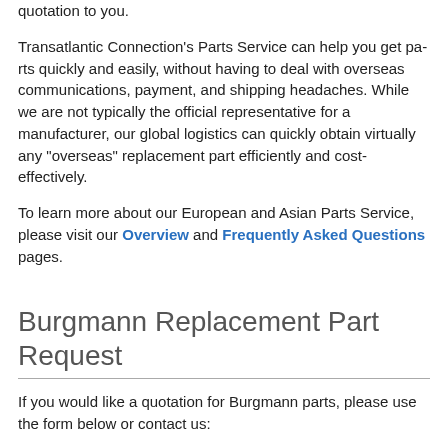quotation to you.
Transatlantic Connection's Parts Service can help you get parts quickly and easily, without having to deal with overseas communications, payment, and shipping headaches. While we are not typically the official representative for a manufacturer, our global logistics can quickly obtain virtually any "overseas" replacement part efficiently and cost-effectively.
To learn more about our European and Asian Parts Service, please visit our Overview and Frequently Asked Questions pages.
Burgmann Replacement Part Request
If you would like a quotation for Burgmann parts, please use the form below or contact us:
Telephone: 815-962-5600
Fax: 815-962-4600